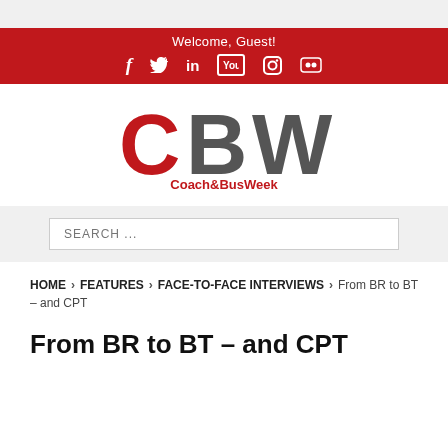Welcome, Guest!
[Figure (logo): CBW Coach&BusWeek logo with red C, gray BW letters and red Coach&BusWeek text below]
SEARCH ...
HOME > FEATURES > FACE-TO-FACE INTERVIEWS > From BR to BT – and CPT
From BR to BT – and CPT